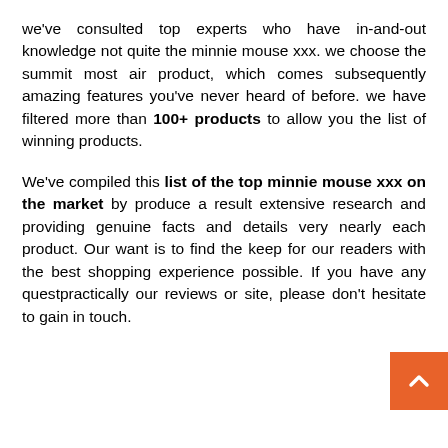we've consulted top experts who have in-and-out knowledge not quite the minnie mouse xxx. we choose the summit most air product, which comes subsequently amazing features you've never heard of before. we have filtered more than 100+ products to allow you the list of winning products.
We've compiled this list of the top minnie mouse xxx on the market by produce a result extensive research and providing genuine facts and details very nearly each product. Our want is to find the keep for our readers with the best shopping experience possible. If you have any ques... practically our reviews or site, please don't hesitate to gain in touch.